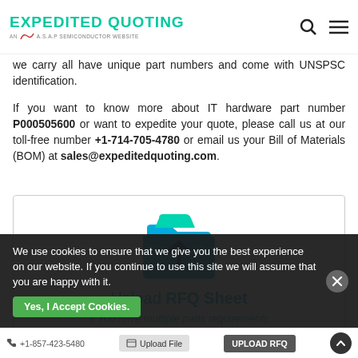EXPEDITED QUOTING AN A.S.A.P SEMICONDUCTOR WEBSITE
we carry all have unique part numbers and come with UNSPSC identification.
If you want to know more about IT hardware part number P000505600 or want to expedite your quote, please call us at our toll-free number +1-714-705-4780 or email us your Bill of Materials (BOM) at sales@expeditedquoting.com.
[Figure (illustration): Upload RFQ Sheet illustration with folder icon and upload arrow. Text: Upload RFQ Sheet. Subtext: If You have multiple parts requirements]
We use cookies to ensure that we give you the best experience on our website. If you continue to use this site we will assume that you are happy with it.
+1-857-423-5480  Upload File  UPLOAD RFQ